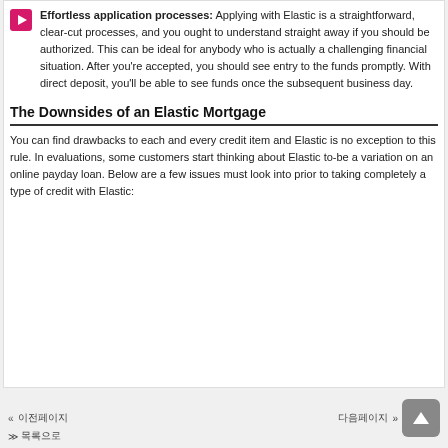Effortless application processes: Applying with Elastic is a straightforward, clear-cut processes, and you ought to understand straight away if you should be authorized. This can be ideal for anybody who is actually a challenging financial situation. After you're accepted, you should see entry to the funds promptly. With direct deposit, you'll be able to see funds once the subsequent business day.
The Downsides of an Elastic Mortgage
You can find drawbacks to each and every credit item and Elastic is no exception to this rule. In evaluations, some customers start thinking about Elastic to-be a variation on an online payday loan. Below are a few issues must look into prior to taking completely a type of credit with Elastic:
« 이전페이지   다음페이지 »  ≫ 목록으로